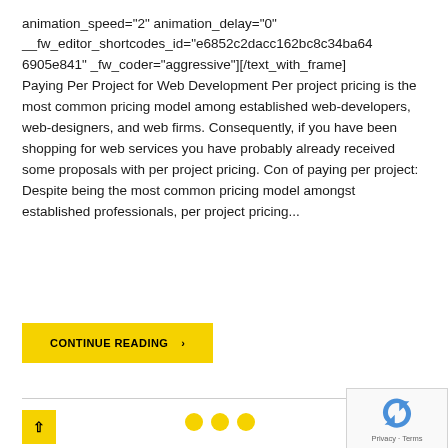animation_speed="2" animation_delay="0" __fw_editor_shortcodes_id="e6852c2dacc162bc8c34ba646905e841" _fw_coder="aggressive"][/text_with_frame]
Paying Per Project for Web Development Per project pricing is the most common pricing model among established web-developers, web-designers, and web firms. Consequently, if you have been shopping for web services you have probably already received some proposals with per project pricing. Con of paying per project: Despite being the most common pricing model amongst established professionals, per project pricing...
CONTINUE READING >